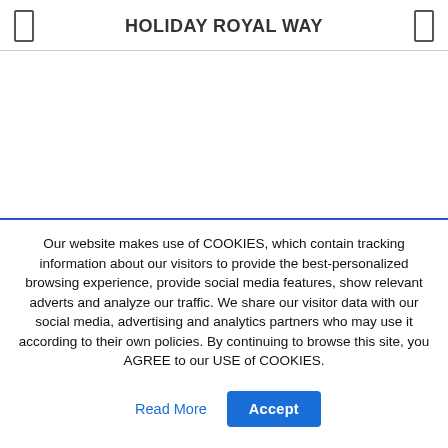HOLIDAY ROYAL WAY
[Figure (other): White blank content area below the header, representing the main page body (obscured or empty)]
Our website makes use of COOKIES, which contain tracking information about our visitors to provide the best-personalized browsing experience, provide social media features, show relevant adverts and analyze our traffic. We share our visitor data with our social media, advertising and analytics partners who may use it according to their own policies. By continuing to browse this site, you AGREE to our USE of COOKIES.
Read More
Accept